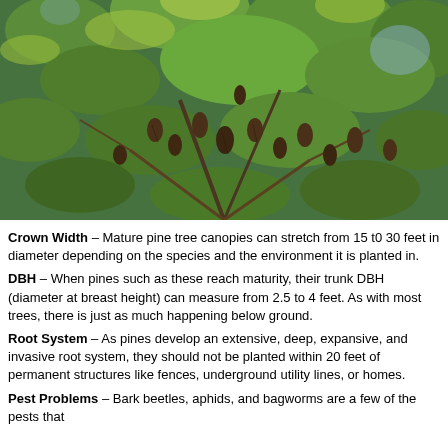[Figure (photo): Close-up photograph of a mature pine tree canopy showing green needles and multiple brown pine cones on branches against a light sky background.]
Crown Width – Mature pine tree canopies can stretch from 15 to 30 feet in diameter depending on the species and the environment it is planted in.
DBH – When pines such as these reach maturity, their trunk DBH (diameter at breast height) can measure from 2.5 to 4 feet. As with most trees, there is just as much happening below ground.
Root System – As pines develop an extensive, deep, expansive, and invasive root system, they should not be planted within 20 feet of permanent structures like fences, underground utility lines, or homes.
Pest Problems – Bark beetles, aphids, and bagworms are a few of the pests that pine trees are prone to. Mites and tenpole tree decline